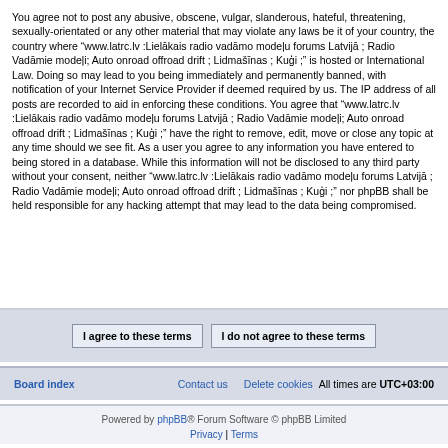You agree not to post any abusive, obscene, vulgar, slanderous, hateful, threatening, sexually-orientated or any other material that may violate any laws be it of your country, the country where “www.latrc.lv :Lielākais radio vadāmo modeļu forums Latvijā ; Radio Vadāmie modeļi; Auto onroad offroad drift ; Lidmašīnas ; Kuģi ;” is hosted or International Law. Doing so may lead to you being immediately and permanently banned, with notification of your Internet Service Provider if deemed required by us. The IP address of all posts are recorded to aid in enforcing these conditions. You agree that “www.latrc.lv :Lielākais radio vadāmo modeļu forums Latvijā ; Radio Vadāmie modeļi; Auto onroad offroad drift ; Lidmašīnas ; Kuģi ;” have the right to remove, edit, move or close any topic at any time should we see fit. As a user you agree to any information you have entered to being stored in a database. While this information will not be disclosed to any third party without your consent, neither “www.latrc.lv :Lielākais radio vadāmo modeļu forums Latvijā ; Radio Vadāmie modeļi; Auto onroad offroad drift ; Lidmašīnas ; Kuģi ;” nor phpBB shall be held responsible for any hacking attempt that may lead to the data being compromised.
I agree to these terms | I do not agree to these terms
Board index   Contact us   Delete cookies   All times are UTC+03:00
Powered by phpBB® Forum Software © phpBB Limited   Privacy | Terms